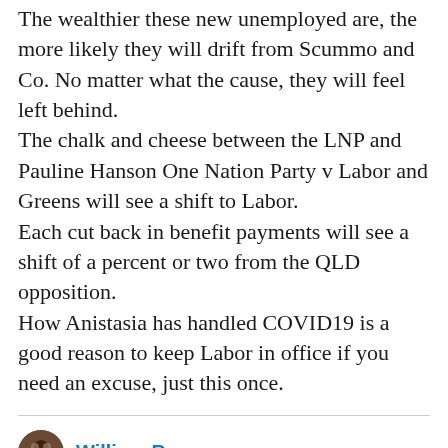The wealthier these new unemployed are, the more likely they will drift from Scummo and Co. No matter what the cause, they will feel left behind.
The chalk and cheese between the LNP and Pauline Hanson One Nation Party v Labor and Greens will see a shift to Labor.
Each cut back in benefit payments will see a shift of a percent or two from the QLD opposition.
How Anistasia has handled COVID19 is a good reason to keep Labor in office if you need an excuse, just this once.
William Bowe
Friday, July 31, 2020 at 6:26 am